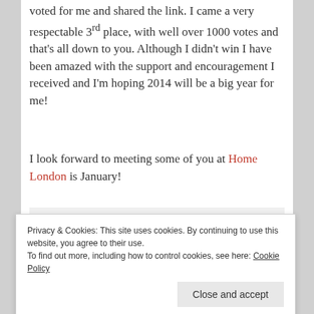voted for me and shared the link. I came a very respectable 3rd place, with well over 1000 votes and that's all down to you. Although I didn't win I have been amazed with the support and encouragement I received and I'm hoping 2014 will be a big year for me!
I look forward to meeting some of you at Home London is January!
[Figure (photo): A decorative pillow/cushion with a geometric pattern in yellow-green, grey, and light blue colors, photographed against a white background.]
Privacy & Cookies: This site uses cookies. By continuing to use this website, you agree to their use. To find out more, including how to control cookies, see here: Cookie Policy
Close and accept